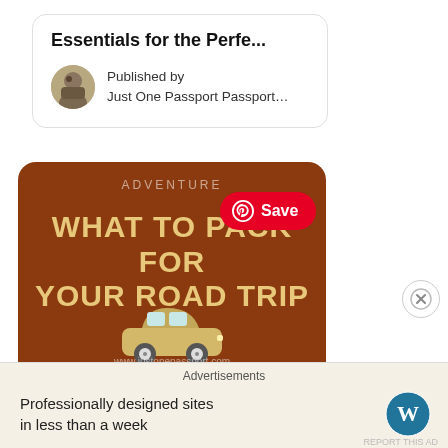Essentials for the Perfe...
Published by
Just One Passport Passport…
[Figure (screenshot): Pinterest-style card showing a road trip packing guide image. Brown/terracotta background with text 'ADVENTURE' and 'WHAT TO PACK FOR YOUR ROAD TRIP' and a cartoon car illustration. Bottom half shows a photo of red rock canyon landscape. A red 'Save' button with Pinterest logo overlaid in upper right of card.]
Advertisements
Professionally designed sites in less than a week